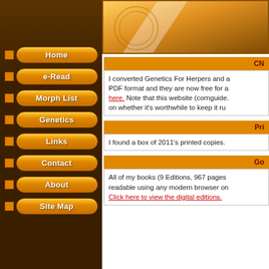[Figure (screenshot): Website banner with golden/orange gradient background and 'Hor' text visible (partial 'Home' or site title), with decorative circular pattern on left.]
CN
I converted Genetics For Herpers and a PDF format and they are now free for a here. Note that this website (cornguide. on whether it's worthwhile to keep it ru
Pri
I found a box of 2011's printed copies.
Go
All of my books (9 Editions, 967 pages readable using any modern browser on Click here to view the digital editions.
Home
e-Read
Morph List
Genetics
Links
Contact
About
Site Map